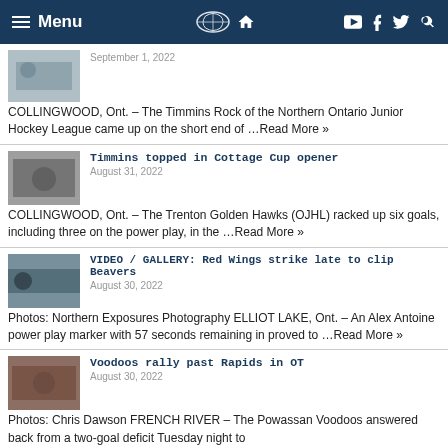Menu | [Logo] | YouTube Facebook Twitter Search
September 1, 2022
COLLINGWOOD, Ont. – The Timmins Rock of the Northern Ontario Junior Hockey League came up on the short end of ...Read More »
Timmins topped in Cottage Cup opener
August 31, 2022
COLLINGWOOD, Ont. – The Trenton Golden Hawks (OJHL) racked up six goals, including three on the power play, in the ...Read More »
VIDEO / GALLERY: Red Wings strike late to clip Beavers
August 30, 2022
Photos: Northern Exposures Photography ELLIOT LAKE, Ont. – An Alex Antoine power play marker with 57 seconds remaining in proved to ...Read More »
Voodoos rally past Rapids in OT
August 30, 2022
Photos: Chris Dawson FRENCH RIVER – The Powassan Voodoos answered back from a two-goal deficit Tuesday night to